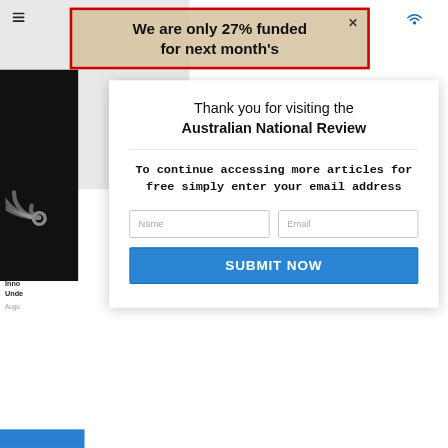[Figure (screenshot): Screenshot of Australian National Review website with a modal popup overlay. Background shows hamburger menu icon, WiFi icon, a red-bordered notification popup at top reading 'We are only 27% funded for next month's', a black image strip on left with circular signal/radio wave graphic, and partial article text. The main modal is white with text, form fields, and a blue submit button.]
We are only 27% funded for next month's
Thank you for visiting the Australian National Review
To continue accessing more articles for free simply enter your email address
Name
Email
SUBMIT NOW